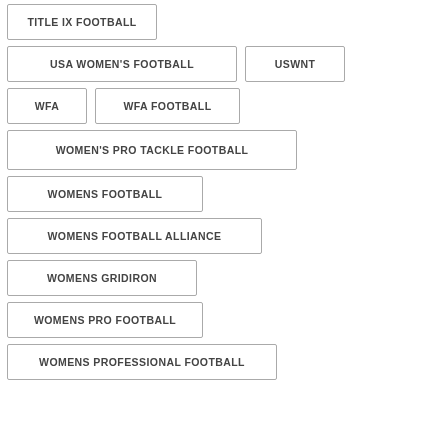TITLE IX FOOTBALL
USA WOMEN'S FOOTBALL
USWNT
WFA
WFA FOOTBALL
WOMEN'S PRO TACKLE FOOTBALL
WOMENS FOOTBALL
WOMENS FOOTBALL ALLIANCE
WOMENS GRIDIRON
WOMENS PRO FOOTBALL
WOMENS PROFESSIONAL FOOTBALL